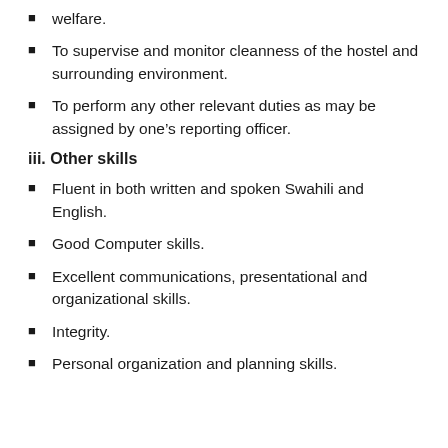welfare.
To supervise and monitor cleanness of the hostel and surrounding environment.
To perform any other relevant duties as may be assigned by one's reporting officer.
iii. Other skills
Fluent in both written and spoken Swahili and English.
Good Computer skills.
Excellent communications, presentational and organizational skills.
Integrity.
Personal organization and planning skills.